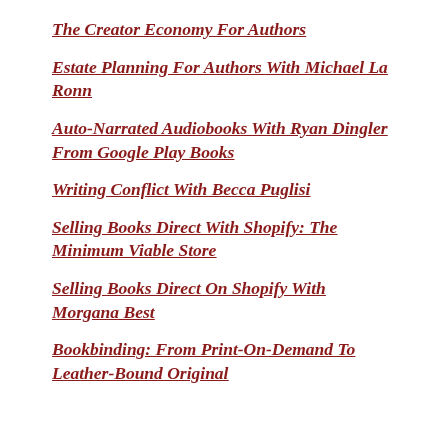The Creator Economy For Authors
Estate Planning For Authors With Michael La Ronn
Auto-Narrated Audiobooks With Ryan Dingler From Google Play Books
Writing Conflict With Becca Puglisi
Selling Books Direct With Shopify: The Minimum Viable Store
Selling Books Direct On Shopify With Morgana Best
Bookbinding: From Print-On-Demand To Leather-Bound Original